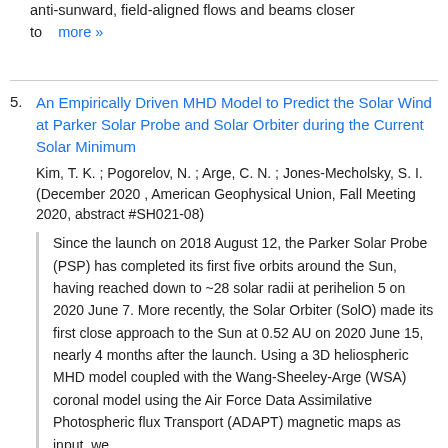anti-sunward, field-aligned flows and beams closer to   more »
5. An Empirically Driven MHD Model to Predict the Solar Wind at Parker Solar Probe and Solar Orbiter during the Current Solar Minimum
Kim, T. K. ; Pogorelov, N. ; Arge, C. N. ; Jones-Mecholsky, S. I. (December 2020 , American Geophysical Union, Fall Meeting 2020, abstract #SH021-08)
Since the launch on 2018 August 12, the Parker Solar Probe (PSP) has completed its first five orbits around the Sun, having reached down to ~28 solar radii at perihelion 5 on 2020 June 7. More recently, the Solar Orbiter (SolO) made its first close approach to the Sun at 0.52 AU on 2020 June 15, nearly 4 months after the launch. Using a 3D heliospheric MHD model coupled with the Wang-Sheeley-Arge (WSA) coronal model using the Air Force Data Assimilative Photospheric flux Transport (ADAPT) magnetic maps as input, we